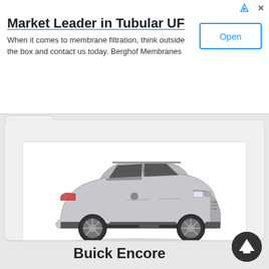Market Leader in Tubular UF
When it comes to membrane filtration, think outside the box and contact us today. Berghof Membranes
[Figure (photo): Silver Buick Encore SUV shown from a front 3/4 angle on white background]
Price: $21007
Year: 2018
Mileage: 10
Buick Encore